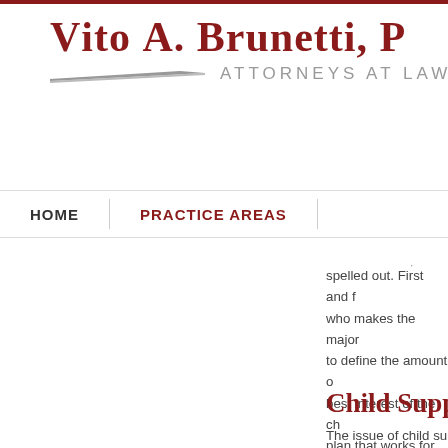Vito A. Brunetti, P — Attorneys at Law
HOME | PRACTICE AREAS
spelled out. First and foremost, who makes the major decisions, to define the amount of child's best interest of the child, plan that works for you and your child harmoniously.
Child Support
The issue of child su…